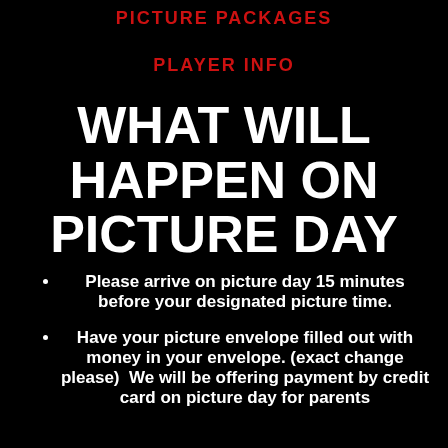PICTURE PACKAGES
PLAYER INFO
WHAT WILL HAPPEN ON PICTURE DAY
Please arrive on picture day 15 minutes before your designated picture time.
Have your picture envelope filled out with money in your envelope. (exact change please)  We will be offering payment by credit card on picture day for parents